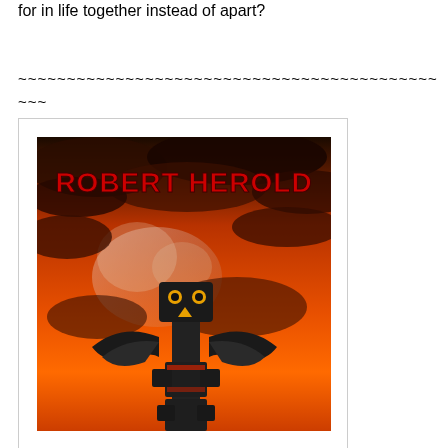for in life together instead of apart?
~~~~~~~~~~~~~~~~~~~~~~~~~~~~~~~~~~~~~~~~~~~
~~~
[Figure (illustration): Book cover showing 'ROBERT HEROLD' in bold red text at the top, with a dramatic orange and dark cloudy sky background and a totem pole in the lower center foreground.]